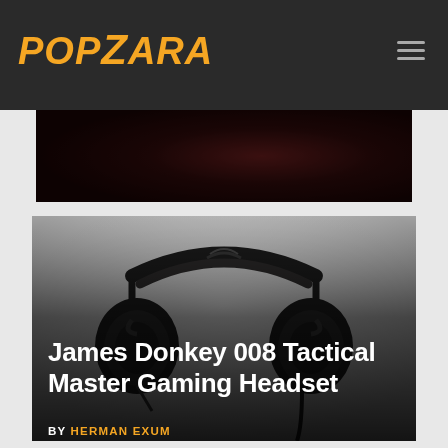POPZARA
[Figure (photo): Dark moody background image strip at top of page]
[Figure (photo): Black gaming headset (James Donkey 008 Tactical Master) photographed against a light background, with dark gradient overlay at bottom containing title text]
James Donkey 008 Tactical Master Gaming Headset
BY HERMAN EXUM